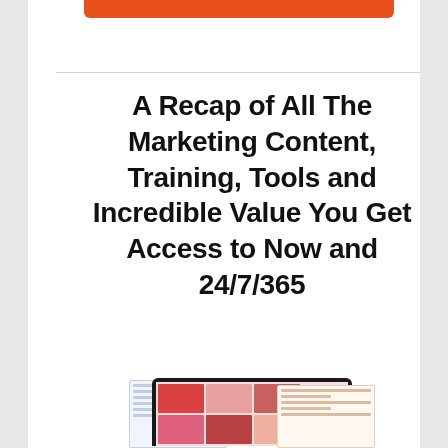[Figure (other): Orange rounded button/bar partially visible at top of white card]
A Recap of All The Marketing Content, Training, Tools and Incredible Value You Get Access to Now and 24/7/365
[Figure (illustration): Screenshots of marketing content shown on tablet and paper documents at bottom of page]